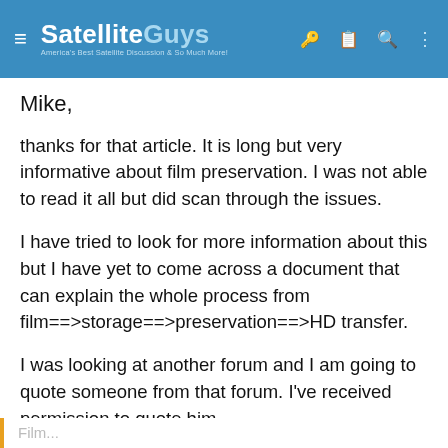SatelliteGuys — America's Best Satellite Discussion & So Much More!
Mike,
thanks for that article. It is long but very informative about film preservation. I was not able to read it all but did scan through the issues.
I have tried to look for more information about this but I have yet to come across a document that can explain the whole process from film==>storage==>preservation==>HD transfer.
I was looking at another forum and I am going to quote someone from that forum. I've received permission to quote him.
Film...